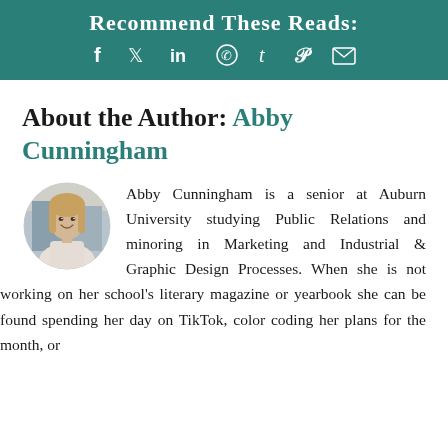[Figure (infographic): Teal banner with heading 'Recommend These Reads:' and social media icons: Facebook, Twitter, LinkedIn, WhatsApp, Tumblr, Pinterest, Email]
About the Author: Abby Cunningham
[Figure (photo): Circular profile photo of Abby Cunningham, a young woman with long blonde hair, smiling]
Abby Cunningham is a senior at Auburn University studying Public Relations and minoring in Marketing and Industrial & Graphic Design Processes. When she is not working on her school's literary magazine or yearbook she can be found spending her day on TikTok, color coding her plans for the month, or